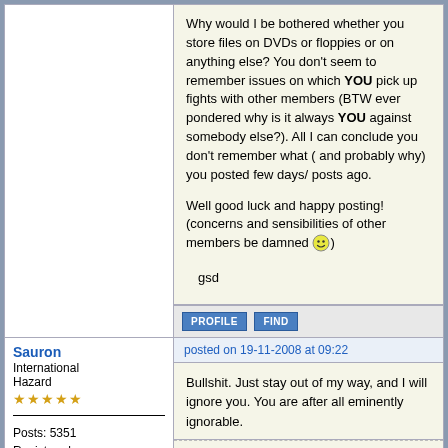Why would I be bothered whether you store files on DVDs or floppies or on anything else? You don't seem to remember issues on which YOU pick up fights with other members (BTW ever pondered why is it always YOU against somebody else?). All I can conclude you don't remember what ( and probably why) you posted few days/ posts ago.

Well good luck and happy posting! (concerns and sensibilities of other members be damned :) )

gsd
Sauron
International Hazard
★★★★★
Posts: 5351
Registered: 22-12-2006
Location: Barad-Dur, Mordor
Member Is Offline
Mood:
posted on 19-11-2008 at 09:22
Bullshit. Just stay out of my way, and I will ignore you. You are after all eminently ignorable.
Sic gorgeamus a los subjectatus nunc.